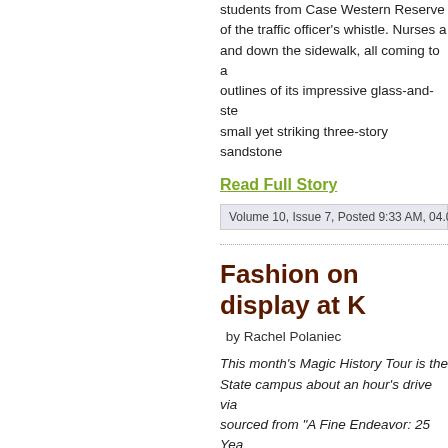students from Case Western Reserve of the traffic officer's whistle. Nurses an and down the sidewalk, all coming to a outlines of its impressive glass-and-ste small yet striking three-story sandstone
Read Full Story
Volume 10, Issue 7, Posted 9:33 AM, 04.03.2018
Fashion on display at K
by Rachel Polaniec
This month's Magic History Tour is the State campus about an hour's drive via sourced from "A Fine Endeavor: 25 Yea Elements" exhibit brochure. Both are a open Wednesday through Saturday to visitors.
On the Kent State University campus, a the late 1920s as the first university lib into administrative use for the executive building hosts a "jewel in the crown" of